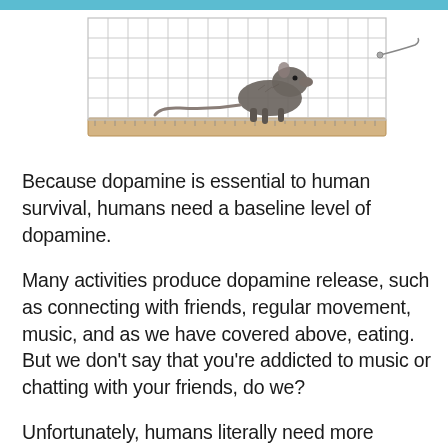[Figure (photo): A rat inside a wire cage sitting on a wooden board, photographed against a white background. The cage has a wire mesh structure with a ruler-like scale visible at the bottom. There is a teal/blue bar at the very top of the image.]
Because dopamine is essential to human survival, humans need a baseline level of dopamine.
Many activities produce dopamine release, such as connecting with friends, regular movement, music, and as we have covered above, eating. But we don't say that you're addicted to music or chatting with your friends, do we?
Unfortunately, humans literally need more dopamine from food if they aren't getting enough dopamine from other sources. This explanation